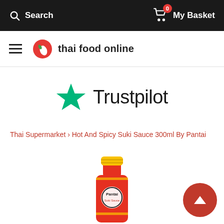Search   My Basket
[Figure (logo): Thai food online logo with chili icon and hamburger menu]
[Figure (logo): Trustpilot logo with green star]
Thai Supermarket › Hot And Spicy Suki Sauce 300ml By Pantai
[Figure (photo): Bottle of Hot And Spicy Suki Sauce 300ml by Pantai with yellow cap and red label]